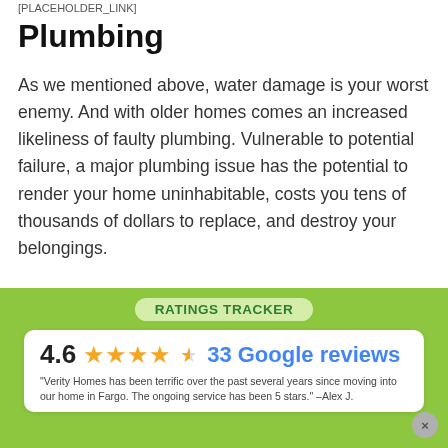[PLACEHOLDER_LINK]
Plumbing
As we mentioned above, water damage is your worst enemy. And with older homes comes an increased likeliness of faulty plumbing. Vulnerable to potential failure, a major plumbing issue has the potential to render your home uninhabitable, costs you tens of thousands of dollars to replace, and destroy your belongings.
Along with the natural deteriorating of whatever plumbing material the home possesses, root damage is also a major concern. If your home, and neighborhood, is heavily vegetated and host to large trees, your home's drainage pipes are vulnerable to
RATINGS TRACKER
4.6 ★★★★½ 33 Google reviews
"Verity Homes has been terrific over the past several years since moving into our home in Fargo. The ongoing service has been 5 stars." –Alex J.